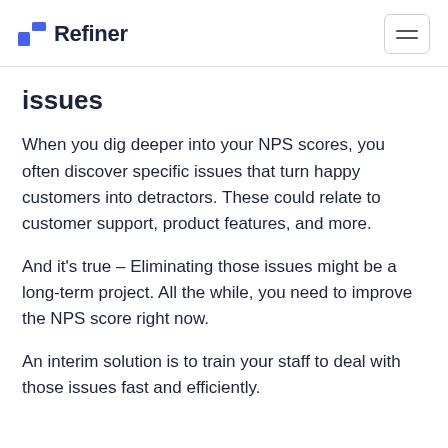Refiner
issues
When you dig deeper into your NPS scores, you often discover specific issues that turn happy customers into detractors. These could relate to customer support, product features, and more.
And it's true – Eliminating those issues might be a long-term project. All the while, you need to improve the NPS score right now.
An interim solution is to train your staff to deal with those issues fast and efficiently.